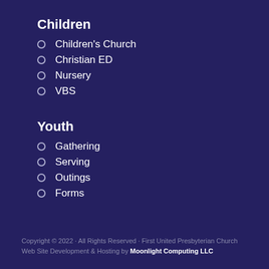Children
Children's Church
Christian ED
Nursery
VBS
Youth
Gathering
Serving
Outings
Forms
Copyright © 2022 · All Rights Reserved · First United Presbyterian Church
Web Site Development & Hosting by Moonlight Computing LLC